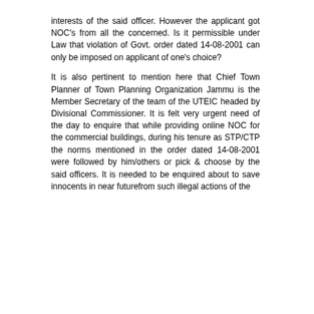interests of the said officer. However the applicant got NOC's from all the concerned. Is it permissible under Law that violation of Govt. order dated 14-08-2001 can only be imposed on applicant of one's choice?
It is also pertinent to mention here that Chief Town Planner of Town Planning Organization Jammu is the Member Secretary of the team of the UTEIC headed by Divisional Commissioner. It is felt very urgent need of the day to enquire that while providing online NOC for the commercial buildings, during his tenure as STP/CTP the norms mentioned in the order dated 14-08-2001 were followed by him/others or pick & choose by the said officers. It is needed to be enquired about to save innocents in near futurefrom such illegal actions of the